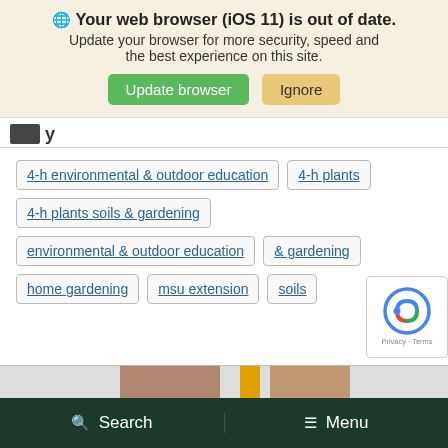🌐 Your web browser (iOS 11) is out of date. Update your browser for more security, speed and the best experience on this site.
Update browser | Ignore
4-h environmental & outdoor education
4-h plants
4-h plants soils & gardening
environmental & outdoor education
& gardening
home gardening
msu extension
soils
[Figure (logo): reCAPTCHA widget with Privacy and Terms links]
Search   Menu